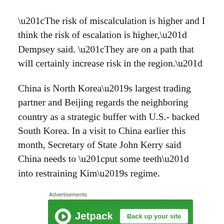“The risk of miscalculation is higher and I think the risk of escalation is higher,” Dempsey said. “They are on a path that will certainly increase risk in the region.”
China is North Korea’s largest trading partner and Beijing regards the neighboring country as a strategic buffer with U.S.- backed South Korea. In a visit to China earlier this month, Secretary of State John Kerry said China needs to “put some teeth” into restraining Kim’s regime.
[Figure (other): Jetpack advertisement banner with green background, Jetpack logo and icon on the left, and a 'Back up your site' button on the right. Labeled 'Advertisements' above.]
“I will leave here with the belief that the Chinese leadership is as concerned as we are,” Dempsey said. “We think there is still time for North Korea’s leaders to